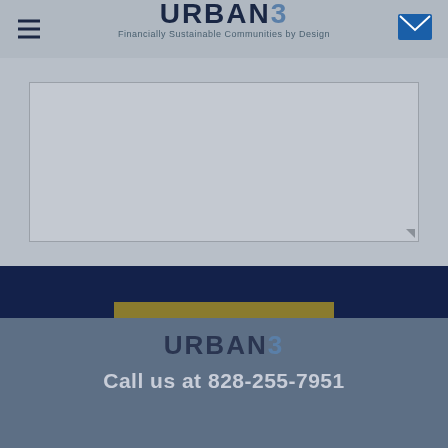URBAN3 - Financially Sustainable Communities by Design
[Figure (screenshot): Large text area input field with grey background, part of a contact/feedback form]
SUBMIT FORM
URBAN3
Call us at 828-255-7951